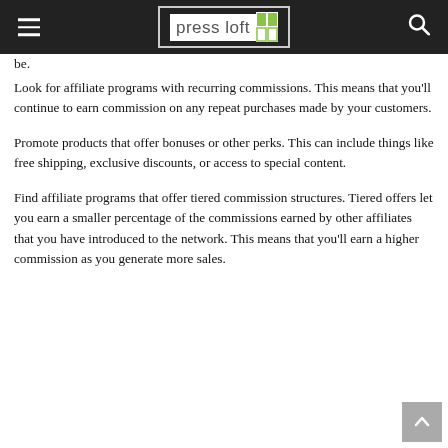press loft [logo]
be.
Look for affiliate programs with recurring commissions. This means that you'll continue to earn commission on any repeat purchases made by your customers.
Promote products that offer bonuses or other perks. This can include things like free shipping, exclusive discounts, or access to special content.
Find affiliate programs that offer tiered commission structures. Tiered offers let you earn a smaller percentage of the commissions earned by other affiliates that you have introduced to the network. This means that you'll earn a higher commission as you generate more sales.